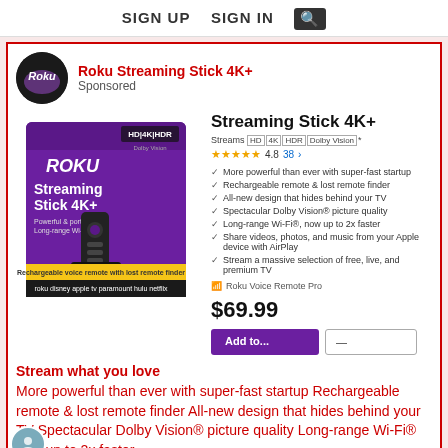SIGN UP   SIGN IN   🔍
Roku Streaming Stick 4K+
Sponsored
[Figure (photo): Roku Streaming Stick 4K+ product box with remote control on purple background]
Streaming Stick 4K+
Streams HD|4K|HDR|Dolby Vision*
★★★★★ 4.8  38 >
More powerful than ever with super-fast startup
Rechargeable remote & lost remote finder
All-new design that hides behind your TV
Spectacular Dolby Vision® picture quality
Long-range Wi-Fi®, now up to 2x faster
Share videos, photos, and music from your Apple device with AirPlay
Stream a massive selection of free, live, and premium TV
Roku Voice Remote Pro
$69.99
Stream what you love
More powerful than ever with super-fast startup Rechargeable remote & lost remote finder All-new design that hides behind your TV Spectacular Dolby Vision® picture quality Long-range Wi-Fi® now up to 2x faster